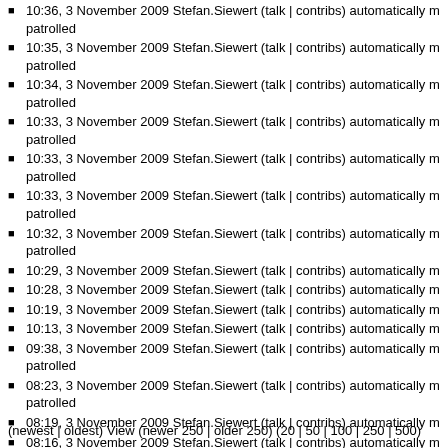10:36, 3 November 2009 Stefan.Siewert (talk | contribs) automatically m patrolled
10:35, 3 November 2009 Stefan.Siewert (talk | contribs) automatically m patrolled
10:34, 3 November 2009 Stefan.Siewert (talk | contribs) automatically m patrolled
10:33, 3 November 2009 Stefan.Siewert (talk | contribs) automatically m patrolled
10:33, 3 November 2009 Stefan.Siewert (talk | contribs) automatically m patrolled
10:33, 3 November 2009 Stefan.Siewert (talk | contribs) automatically m patrolled
10:32, 3 November 2009 Stefan.Siewert (talk | contribs) automatically m patrolled
10:29, 3 November 2009 Stefan.Siewert (talk | contribs) automatically m
10:28, 3 November 2009 Stefan.Siewert (talk | contribs) automatically m
10:19, 3 November 2009 Stefan.Siewert (talk | contribs) automatically m
10:13, 3 November 2009 Stefan.Siewert (talk | contribs) automatically m
09:38, 3 November 2009 Stefan.Siewert (talk | contribs) automatically m patrolled
08:23, 3 November 2009 Stefan.Siewert (talk | contribs) automatically m patrolled
08:19, 3 November 2009 Stefan.Siewert (talk | contribs) automatically m
08:16, 3 November 2009 Stefan.Siewert (talk | contribs) automatically m
12:32, 25 July 2008 Stefan.Siewert (talk | contribs) uploaded File:SPE c
13:03, 17 October 2007 Stefan.Siewert (talk | contribs) uploaded File:ol
13:29, 11 April 2007 Stefan.Siewert (talk | contribs) uploaded File:Time Time Settings since HFA Version V5 R2.36.4)
07:18, 24 October 2006 Stefan.Siewert (talk | contribs) protected User:S
(newest | oldest) View (newer 250 | older 250) (20 | 50 | 100 | 250 | 500)